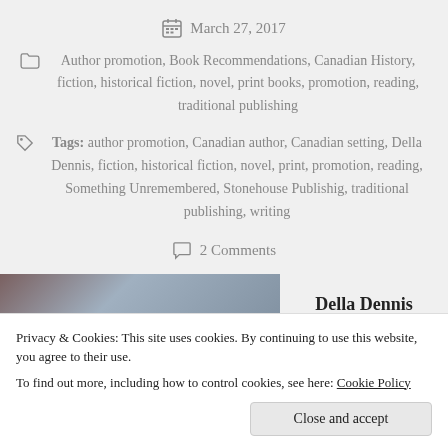March 27, 2017
Author promotion, Book Recommendations, Canadian History, fiction, historical fiction, novel, print books, promotion, reading, traditional publishing
Tags: author promotion, Canadian author, Canadian setting, Della Dennis, fiction, historical fiction, novel, print, promotion, reading, Something Unremembered, Stonehouse Publishig, traditional publishing, writing
2 Comments
Della Dennis
Privacy & Cookies: This site uses cookies. By continuing to use this website, you agree to their use. To find out more, including how to control cookies, see here: Cookie Policy
Close and accept
is it?